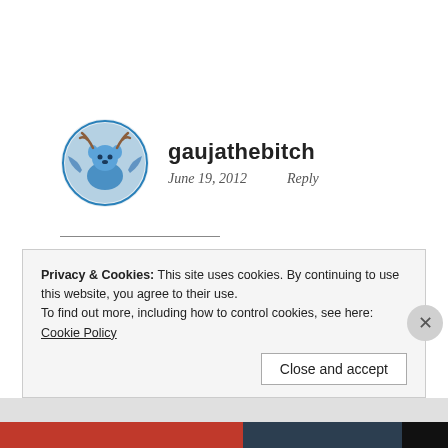[Figure (illustration): User avatar icon — stylized deer/stag head with antlers and decorative circular border in blue tones]
gaujathebitch
June 19, 2012    Reply
4 out of 8 ain't bad. Although the literature professor I worked for last
Privacy & Cookies: This site uses cookies. By continuing to use this website, you agree to their use.
To find out more, including how to control cookies, see here: Cookie Policy
Close and accept